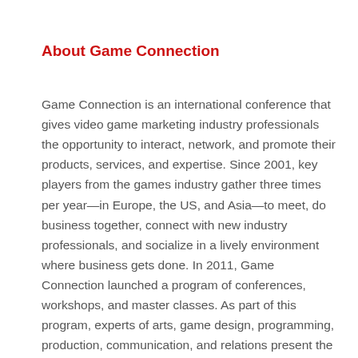About Game Connection
Game Connection is an international conference that gives video game marketing industry professionals the opportunity to interact, network, and promote their products, services, and expertise. Since 2001, key players from the games industry gather three times per year—in Europe, the US, and Asia—to meet, do business together, connect with new industry professionals, and socialize in a lively environment where business gets done. In 2011, Game Connection launched a program of conferences, workshops, and master classes. As part of this program, experts of arts, game design, programming, production, communication, and relations present the